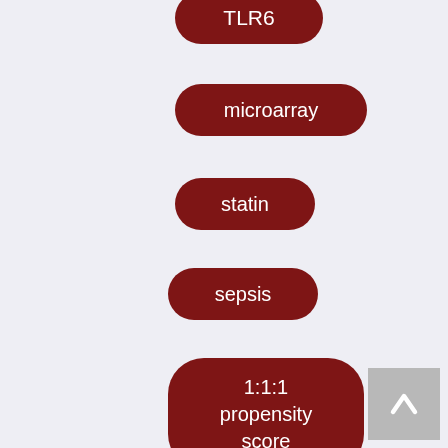TLR6
microarray
statin
sepsis
1:1:1 propensity score
atorvastatin
simvastatin
rosuvastatin
CIGS
spin
[Figure (other): Scroll-to-top button with upward arrow icon]